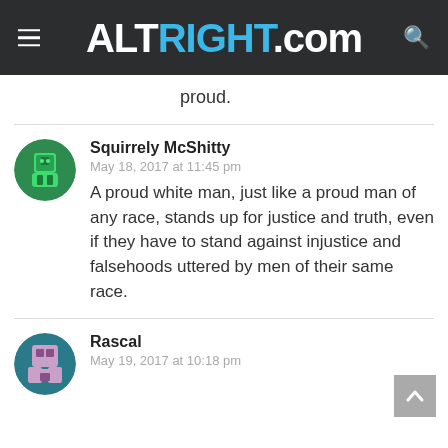ALTRIGHT.COM
proud.
Squirrely McShitty
May 18, 2017 at 11:45 pm
A proud white man, just like a proud man of any race, stands up for justice and truth, even if they have to stand against injustice and falsehoods uttered by men of their same race.
Rascal
May 19, 2017 at 10:18 pm